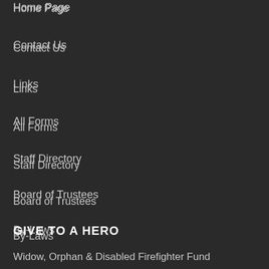Home Page
Contact Us
Links
All Forms
Staff Directory
Board of Trustees
By-Laws
Privacy Policy
Site Map
GIVE TO A HERO
Widow, Orphan & Disabled Firefighter Fund